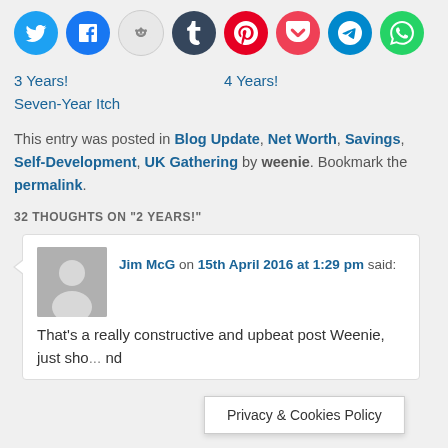[Figure (infographic): Row of 8 social media sharing icons (Twitter, Facebook, Reddit, Tumblr, Pinterest, Pocket, Telegram, WhatsApp) as colored circles]
3 Years!   4 Years!
Seven-Year Itch
This entry was posted in Blog Update, Net Worth, Savings, Self-Development, UK Gathering by weenie. Bookmark the permalink.
32 THOUGHTS ON "2 YEARS!"
Jim McG on 15th April 2016 at 1:29 pm said: That's a really constructive and upbeat post Weenie, just sho... nd
Privacy & Cookies Policy